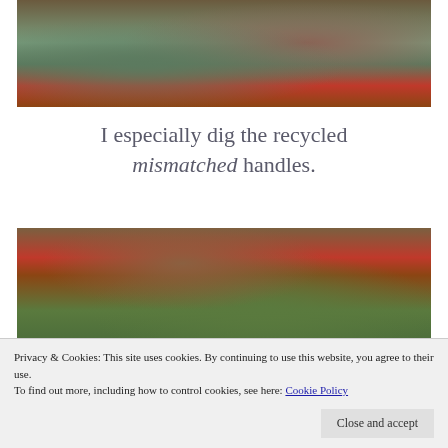[Figure (photo): Top portion of a green quilted bag/tote on a red stand or chair outdoors, surrounded by wood chips and tree]
I especially dig the recycled mismatched handles.
[Figure (photo): Green quilted tote bag with mismatched recycled handles (brown leather straps and red wooden handles), leaning against a tree outdoors]
Privacy & Cookies: This site uses cookies. By continuing to use this website, you agree to their use.
To find out more, including how to control cookies, see here: Cookie Policy